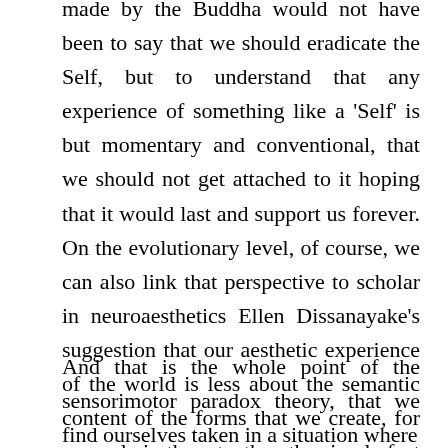made by the Buddha would not have been to say that we should eradicate the Self, but to understand that any experience of something like a 'Self' is but momentary and conventional, that we should not get attached to it hoping that it would last and support us forever. On the evolutionary level, of course, we can also link that perspective to scholar in neuroaesthetics Ellen Dissanayake's suggestion that our aesthetic experience of the world is less about the semantic content of the forms that we create, for example in the arts, than the simple fact that we do have an unique and singular experience in which we find ourselves committed.[11]
And that is the whole point of the sensorimotor paradox theory, that we find ourselves taken in a situation where